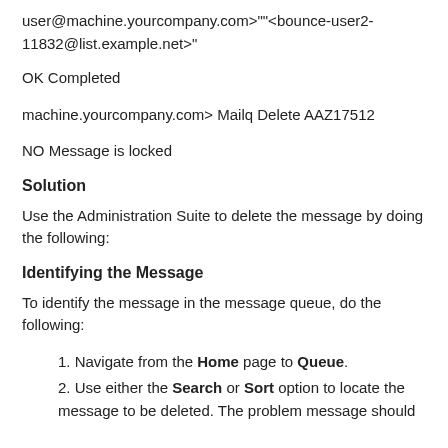user@machine.yourcompany.com>""<bounce-user2-11832@list.example.net>"
OK Completed
machine.yourcompany.com> Mailq Delete AAZ17512
NO Message is locked
Solution
Use the Administration Suite to delete the message by doing the following:
Identifying the Message
To identify the message in the message queue, do the following:
Navigate from the Home page to Queue.
Use either the Search or Sort option to locate the message to be deleted. The problem message should